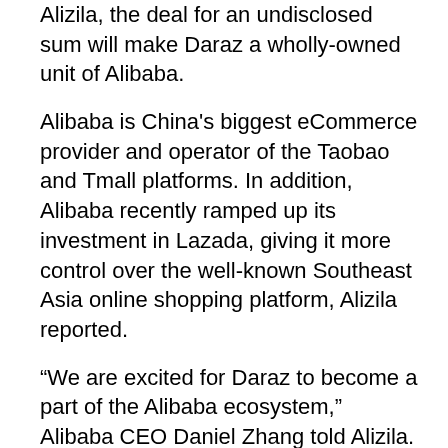Alizila, the deal for an undisclosed sum will make Daraz a wholly-owned unit of Alibaba.
Alibaba is China's biggest eCommerce provider and operator of the Taobao and Tmall platforms. In addition, Alibaba recently ramped up its investment in Lazada, giving it more control over the well-known Southeast Asia online shopping platform, Alizila reported.
“We are excited for Daraz to become a part of the Alibaba ecosystem,” Alibaba CEO Daniel Zhang told Alizila.
“Together with Daraz, we can now empower entrepreneurs to better serve consumers in the region through our technology and expertise.”
Zhang says the Daraz team is a natural fit, sharing Alibaba’s values and beliefs that long-term economic development in the region will depend on a